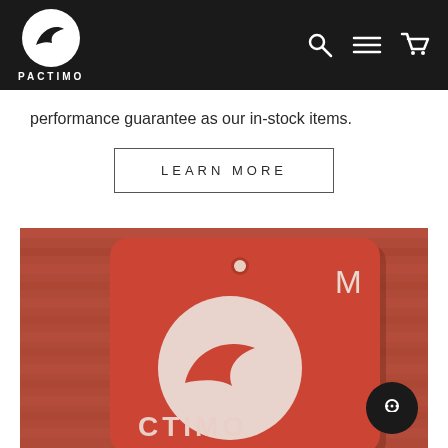[Figure (logo): Pactimo logo: white circle with dark bird/wing shape, text PACTIMO below, on dark navigation bar with search, menu, and cart icons]
performance guarantee as our in-stock items.
LEARN MORE
[Figure (photo): Close-up photo of a red Pactimo hang tag showing the brand logo (white circle with red bird/wing shape), letter M for medium size, and partial brand name CTIMO at bottom, on blurred red background]